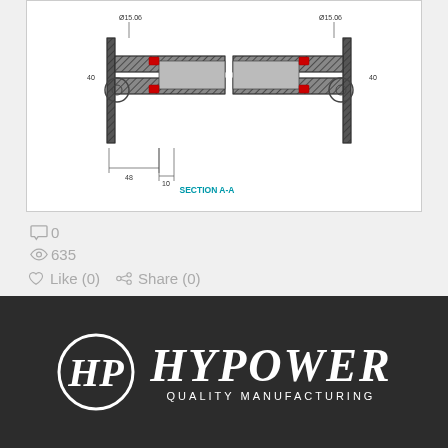[Figure (engineering-diagram): Technical cross-section drawing (SECTION A-A) of a hydraulic cylinder, showing two mirrored sectional views with dimensions including Ø15.06 diameter labels and linear dimensions 40, 48, 10. The diagram is on a white background with dimension lines and hatching.]
0
635
Like (0)  Share (0)
< Previous Post
Next Post >
[Figure (logo): Hypower Quality Manufacturing logo: white oval with HP monogram on left, large italic bold white HYPOWER text, smaller QUALITY MANUFACTURING subtitle, on dark background.]